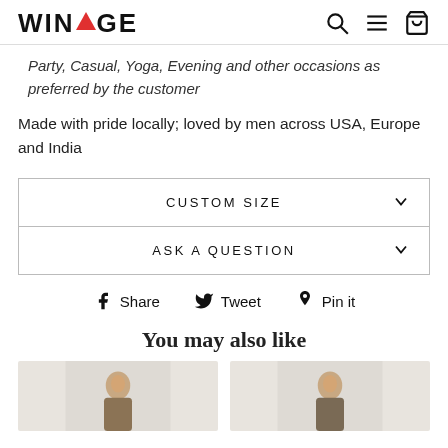WINTAGE
Party, Casual, Yoga, Evening and other occasions as preferred by the customer
Made with pride locally; loved by men across USA, Europe and India
CUSTOM SIZE
ASK A QUESTION
Share  Tweet  Pin it
You may also like
[Figure (photo): Two product photo cards showing male models wearing clothing items]